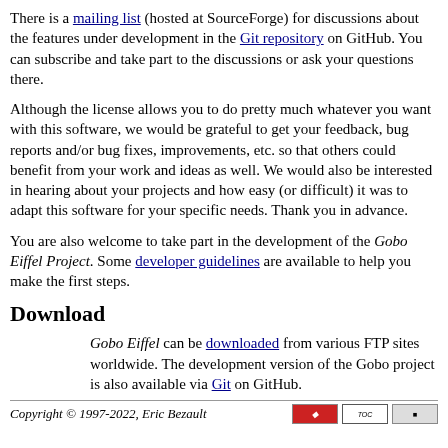There is a mailing list (hosted at SourceForge) for discussions about the features under development in the Git repository on GitHub. You can subscribe and take part to the discussions or ask your questions there.
Although the license allows you to do pretty much whatever you want with this software, we would be grateful to get your feedback, bug reports and/or bug fixes, improvements, etc. so that others could benefit from your work and ideas as well. We would also be interested in hearing about your projects and how easy (or difficult) it was to adapt this software for your specific needs. Thank you in advance.
You are also welcome to take part in the development of the Gobo Eiffel Project. Some developer guidelines are available to help you make the first steps.
Download
Gobo Eiffel can be downloaded from various FTP sites worldwide. The development version of the Gobo project is also available via Git on GitHub.
Copyright © 1997-2022, Eric Bezault